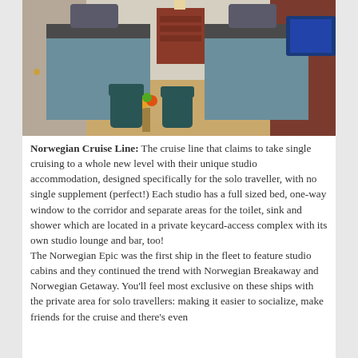[Figure (photo): Hotel/cruise ship cabin interior with two single beds with gray covers, dark teal armchairs around a small round table with fruit bowl, wooden furniture, light wood floor, and a TV visible on the right side.]
Norwegian Cruise Line: The cruise line that claims to take single cruising to a whole new level with their unique studio accommodation, designed specifically for the solo traveller, with no single supplement (perfect!) Each studio has a full sized bed, one-way window to the corridor and separate areas for the toilet, sink and shower which are located in a private keycard-access complex with its own studio lounge and bar, too!
The Norwegian Epic was the first ship in the fleet to feature studio cabins and they continued the trend with Norwegian Breakaway and Norwegian Getaway. You'll feel most exclusive on these ships with the private area for solo travellers: making it easier to socialize, make friends for the cruise and there's even